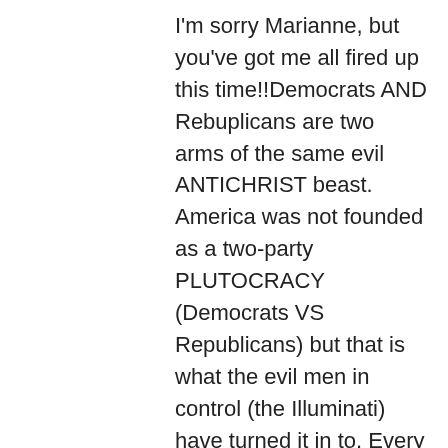I'm sorry Marianne, but you've got me all fired up this time!!Democrats AND Rebuplicans are two arms of the same evil ANTICHRIST beast. America was not founded as a two-party PLUTOCRACY (Democrats VS Republicans) but that is what the evil men in control (the Illuminati) have turned it in to. Every election, they put their men in place FOR US. They use the televised media which they also OWN to broadcast ONLY those they want us to hear. They have already chosen who they want you to vote for. Voting is just a game to keep us “useless eaters” distracted and deceived into thinking we have some sort of control over the political zoo. All the politicians are sold out stooges to filthy rich men who run the governments behind the scenes.